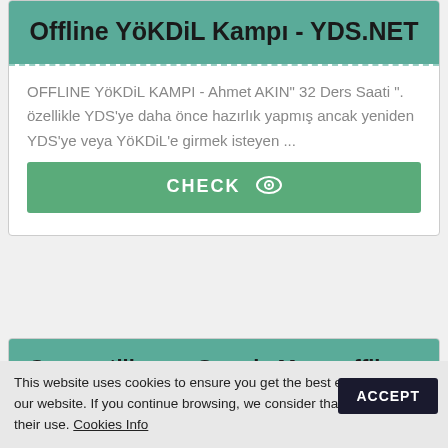Offline YöKDiL Kampı - YDS.NET
OFFLINE YöKDiL KAMPI - Ahmet AKIN" 32 Ders Saati ". özellikle YDS'ye daha önce hazırlık yapmış ancak yeniden YDS'ye veya YöKDiL'e girmek isteyen ...
CHECK
Come utilizzare Google Maps offline - GuideSmartPhone.net
This website uses cookies to ensure you get the best experience on our website. If you continue browsing, we consider that you accept their use. Cookies Info